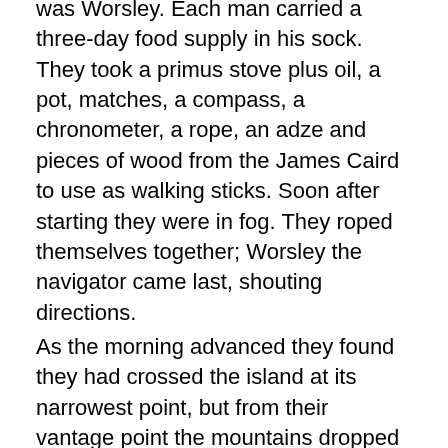was Worsley. Each man carried a three-day food supply in his sock. They took a primus stove plus oil, a pot, matches, a compass, a chronometer, a rope, an adze and pieces of wood from the James Caird to use as walking sticks. Soon after starting they were in fog. They roped themselves together; Worsley the navigator came last, shouting directions.
As the morning advanced they found they had crossed the island at its narrowest point, but from their vantage point the mountains dropped precipitously ahead of them and they were forced backwards. Throughout the day impassable ridges stopped their progress. They were fatigued and frostbitten.
The next stage seems to me to be almost the most dispiriting. They arrived at a place where there were five craggy peaks ahead, blunt fingers reaching into the sky. They could not find a descent pathway from the first two